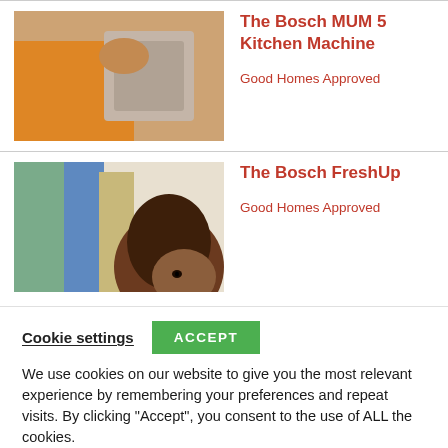[Figure (photo): Person in orange top pouring or mixing ingredients into a kitchen machine bowl]
The Bosch MUM 5 Kitchen Machine
Good Homes Approved
[Figure (photo): Woman with curly hair looking at hanging garments, clothes in background]
The Bosch FreshUp
Good Homes Approved
Cookie settings  ACCEPT
We use cookies on our website to give you the most relevant experience by remembering your preferences and repeat visits. By clicking “Accept”, you consent to the use of ALL the cookies.